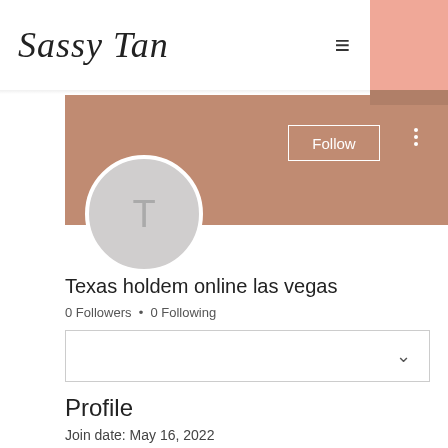Sassy Tan
[Figure (screenshot): Website profile page screenshot for Sassy Tan showing a user profile with avatar initial T, follower stats, Follow button, dropdown box, and Profile section with join date May 16, 2022]
Texas holdem online las vegas
0 Followers • 0 Following
Profile
Join date: May 16, 2022